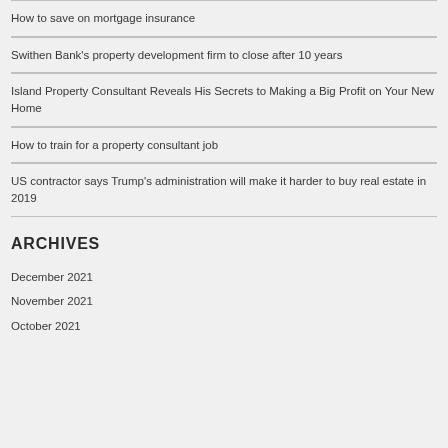How to save on mortgage insurance
Swithen Bank's property development firm to close after 10 years
Island Property Consultant Reveals His Secrets to Making a Big Profit on Your New Home
How to train for a property consultant job
US contractor says Trump's administration will make it harder to buy real estate in 2019
ARCHIVES
December 2021
November 2021
October 2021